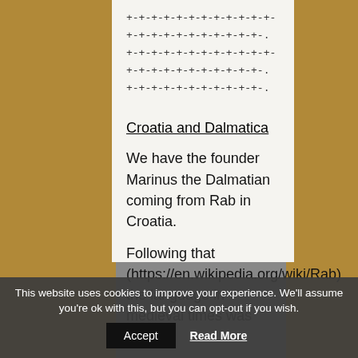+-+-+-+-+-+-+-+-+-+-+-+-+-+-+-+-+-+-+-+-+-+-+-.
+-+-+-+-+-+-+-+-+-+-+-+-+-+-+-+-+-+-+-+-+-+-+-.
+-+-+-+-+-+-+-+-+-+-+-.
Croatia and Dalmatica
We have the founder Marinus the Dalmatian coming from Rab in Croatia.
Following that (https://en.wikipedia.org/wiki/Rab) the language in medieval times was
This website uses cookies to improve your experience. We'll assume you're ok with this, but you can opt-out if you wish.
Accept    Read More